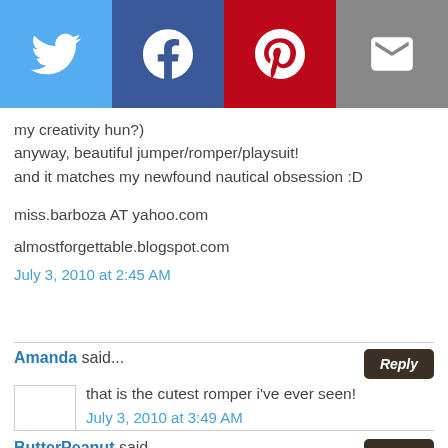[Figure (other): Social share bar with Twitter, Facebook, Pinterest, and Email icons]
my creativity hun?)
anyway, beautiful jumper/romper/playsuit!
and it matches my newfound nautical obsession :D

miss.barboza AT yahoo.com

almostforgettable.blogspot.com

July 3, 2010 at 2:45 AM
Amanda said...
that is the cutest romper i've ever seen!
July 3, 2010 at 3:49 AM
ButterPeanut said...
wow, cute overload!! great job!
July 3, 2010 at 12:26 PM